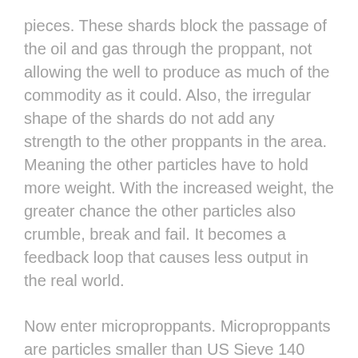pieces. These shards block the passage of the oil and gas through the proppant, not allowing the well to produce as much of the commodity as it could. Also, the irregular shape of the shards do not add any strength to the other proppants in the area. Meaning the other particles have to hold more weight. With the increased weight, the greater chance the other particles also crumble, break and fail. It becomes a feedback loop that causes less output in the real world.
Now enter microproppants. Microproppants are particles smaller than US Sieve 140 mesh. What else is smaller than US Sieve 140 mesh? US Sieve 200 mesh.
The ISO/API crush-resistance test removes would be microproppants before it can be evaluated. Making this